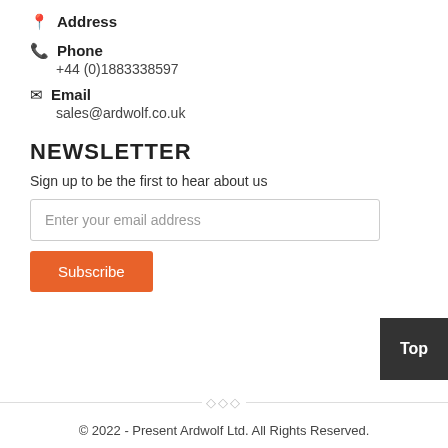Address
Phone
+44 (0)1883338597
Email
sales@ardwolf.co.uk
NEWSLETTER
Sign up to be the first to hear about us
Enter your email address
Subscribe
Top
© 2022 - Present Ardwolf Ltd. All Rights Reserved.